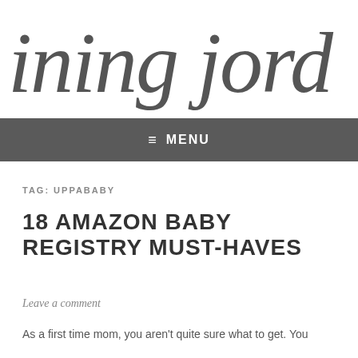ining jord
≡ MENU
TAG: UPPABABY
18 AMAZON BABY REGISTRY MUST-HAVES
Leave a comment
As a first time mom, you aren't quite sure what to get. You